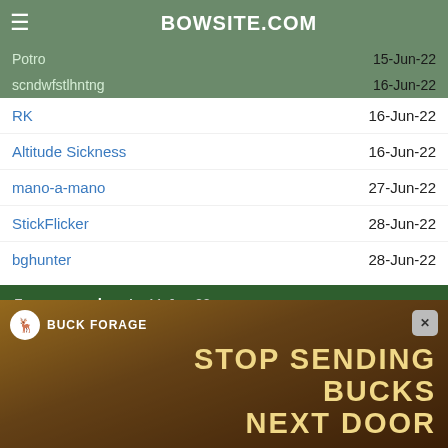BOWSITE.COM
Potro  15-Jun-22
scndwfstlhntng  16-Jun-22
RK  16-Jun-22
Altitude Sickness  16-Jun-22
mano-a-mano  27-Jun-22
StickFlicker  28-Jun-22
bghunter  28-Jun-22
From: speedgoat  11-Jun-22
I remember reading something in the past on shipping critters home from Africa but can't find it again. What is your best advice/ experience on getting them shipped? Which companies do the best job or have better rates?
[Figure (photo): Buck Forage advertisement banner showing a misty forest scene with text STOP SENDING BUCKS NEXT DOOR]